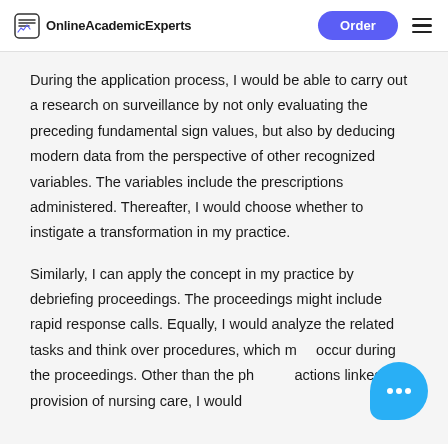OnlineAcademicExperts  Order
During the application process, I would be able to carry out a research on surveillance by not only evaluating the preceding fundamental sign values, but also by deducing modern data from the perspective of other recognized variables. The variables include the prescriptions administered. Thereafter, I would choose whether to instigate a transformation in my practice.
Similarly, I can apply the concept in my practice by debriefing proceedings. The proceedings might include rapid response calls. Equally, I would analyze the related tasks and think over procedures, which may occur during the proceedings. Other than the physical actions linked with provision of nursing care, I would